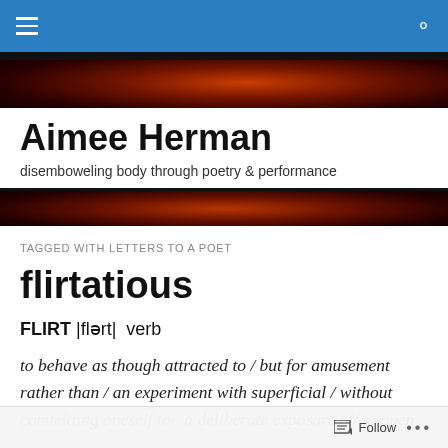Navigation bar with menu and search icons
[Figure (photo): Dark banner with red/orange flame or organic texture background]
Aimee Herman
disemboweling body through poetry & performance
[Figure (photo): Dark banner with red/orange flame or organic texture background (bottom)]
TAGGED WITH LETTERS TO A POET
flirtatious
FLIRT  |flɘrt|  verb
to behave as though attracted to / but for amusement rather than / an experiment with superficial / without committing oneself to/  a deliberate exposure of/ to open
Follow  •••